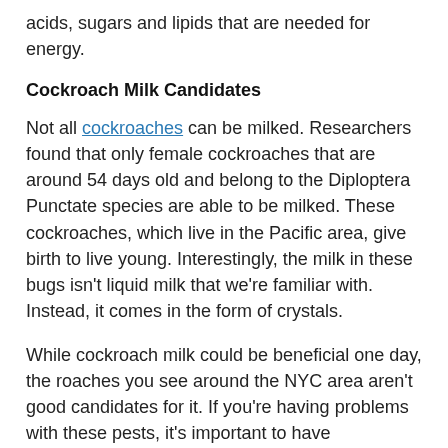acids, sugars and lipids that are needed for energy.
Cockroach Milk Candidates
Not all cockroaches can be milked. Researchers found that only female cockroaches that are around 54 days old and belong to the Diploptera Punctate species are able to be milked. These cockroaches, which live in the Pacific area, give birth to live young. Interestingly, the milk in these bugs isn't liquid milk that we're familiar with. Instead, it comes in the form of crystals.
While cockroach milk could be beneficial one day, the roaches you see around the NYC area aren't good candidates for it. If you're having problems with these pests, it's important to have professional exterminators in the NYC area eliminate them as soon as possible.
If you need NYC cockroach exterminators for your property,